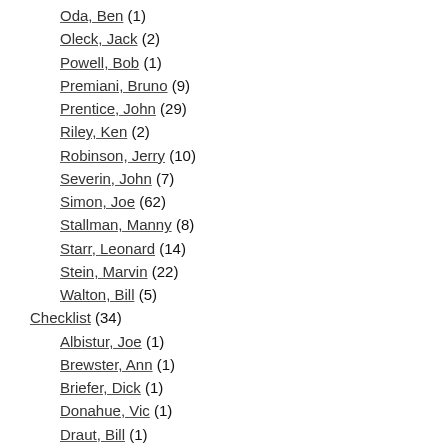Oda, Ben (1)
Oleck, Jack (2)
Powell, Bob (1)
Premiani, Bruno (9)
Prentice, John (29)
Riley, Ken (2)
Robinson, Jerry (10)
Severin, John (7)
Simon, Joe (62)
Stallman, Manny (8)
Starr, Leonard (14)
Stein, Marvin (22)
Walton, Bill (5)
Checklist (34)
Albistur, Joe (1)
Brewster, Ann (1)
Briefer, Dick (1)
Donahue, Vic (1)
Draut, Bill (1)